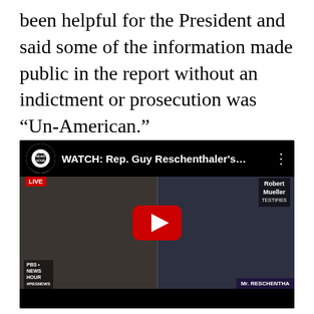been helpful for the President and said some of the information made public in the report without an indictment or prosecution was “Un-American.”
[Figure (screenshot): YouTube video embed from PBS NewsHour showing Rep. Guy Reschenthaler's exchange with Robert Mueller. Title bar reads 'WATCH: Rep. Guy Reschenthaler's...' with PBS NewsHour logo and LIVE badge. Split-screen shows Robert Mueller (left) and Rep. Reschenthaler (right) with nameplate reading 'Mr. RESCHENTHA'. Red YouTube play button in center. 'Robert Mueller TESTIFIES' badge in top right.]